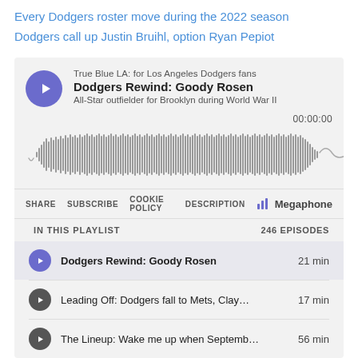Every Dodgers roster move during the 2022 season
Dodgers call up Justin Bruihl, option Ryan Pepiot
[Figure (screenshot): Megaphone podcast player widget showing 'Dodgers Rewind: Goody Rosen' episode from True Blue LA podcast, with waveform audio visualizer at 00:00:00, share/subscribe/cookie policy/description controls, and a playlist of 246 episodes including Dodgers Rewind: Goody Rosen (21 min), Leading Off: Dodgers fall to Mets, Clay... (17 min), and The Lineup: Wake me up when Septemb... (56 min).]